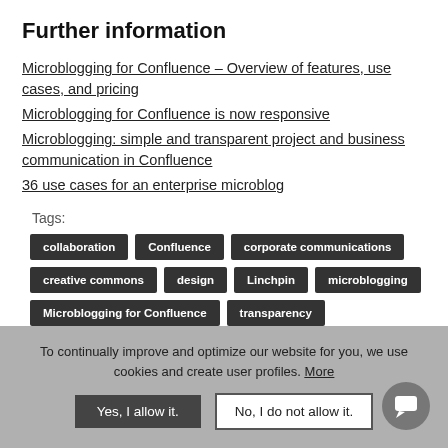Further information
Microblogging for Confluence – Overview of features, use cases, and pricing
Microblogging for Confluence is now responsive
Microblogging: simple and transparent project and business communication in Confluence
36 use cases for an enterprise microblog
Tags:
collaboration | Confluence | corporate communications | creative commons | design | Linchpin | microblogging | Microblogging for Confluence | transparency
To continually improve and optimize our website for you, we use cookies and create user profiles. More
Yes, I allow it. | No, I do not allow it.